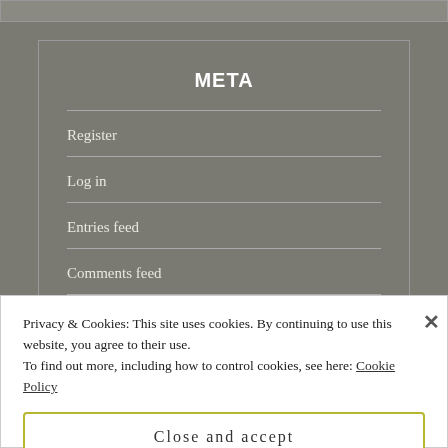META
Register
Log in
Entries feed
Comments feed
Privacy & Cookies: This site uses cookies. By continuing to use this website, you agree to their use.
To find out more, including how to control cookies, see here: Cookie Policy
Close and accept